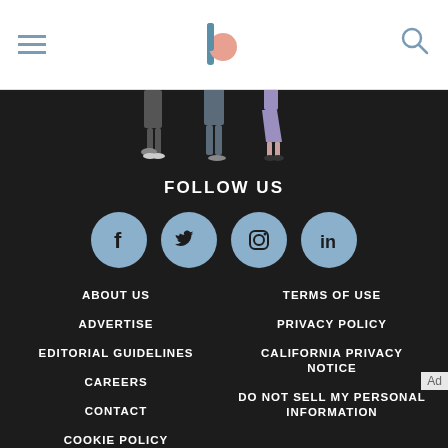Byrdie logo with hamburger menu and search icon
[Figure (illustration): Three illustrated figures (people) shown from waist down on dark background]
FOLLOW US
[Figure (infographic): Four social media icon circles: Facebook, Twitter, Instagram, LinkedIn]
ABOUT US
TERMS OF USE
ADVERTISE
PRIVACY POLICY
EDITORIAL GUIDELINES
CALIFORNIA PRIVACY NOTICE
CAREERS
DO NOT SELL MY PERSONAL INFORMATION
CONTACT
COOKIE POLICY